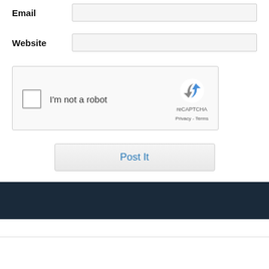Email
Website
[Figure (other): reCAPTCHA widget with checkbox labeled 'I'm not a robot', reCAPTCHA logo, Privacy and Terms links]
Post It
This site uses Akismet to reduce spam. Learn how your comment